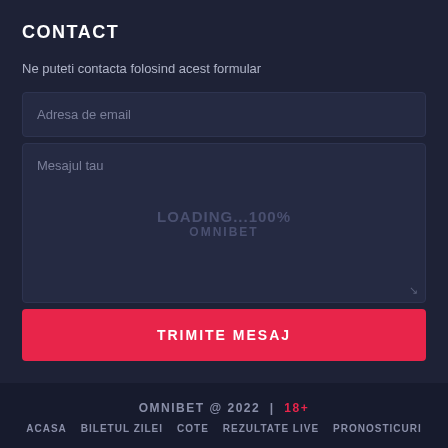CONTACT
Ne puteti contacta folosind acest formular
[Figure (screenshot): Contact form with email input field labeled 'Adresa de email', a message textarea labeled 'Mesajul tau' with loading overlay text 'LOADING...100%' and 'OMNIBET', and a red submit button labeled 'TRIMITE MESAJ']
OMNIBET @ 2022 | 18+  ACASA  BILETUL ZILEI  COTE  REZULTATE LIVE  PRONOSTICURI